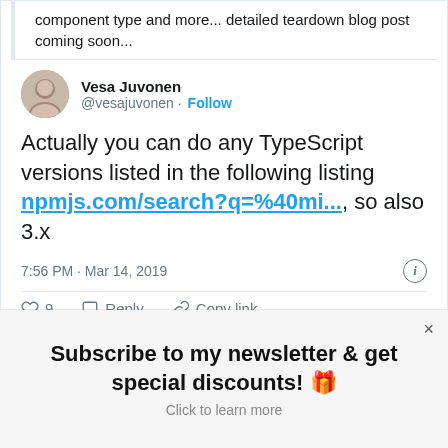component type and more... detailed teardown blog post coming soon...
Vesa Juvonen @vesajuvonen · Follow
Actually you can do any TypeScript versions listed in the following listing npmjs.com/search?q=%40mi..., so also 3.x
7:56 PM · Mar 14, 2019
♡ 9   Reply   Copy link
Explore what's happening on Twitter
Subscribe to my newsletter & get special discounts! 🎁
Click to learn more